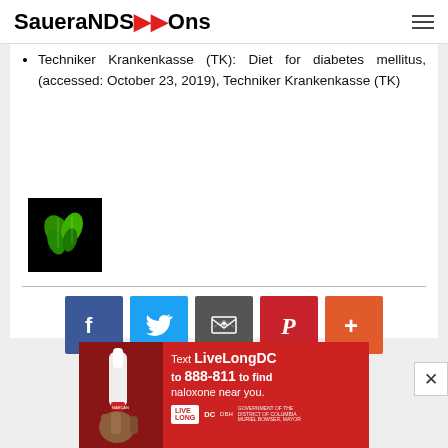SaueraNDS Ons
Techniker Krankenkasse (TK): Diet for diabetes mellitus, (accessed: October 23, 2019), Techniker Krankenkasse (TK)
[Figure (photo): Small square author/brand logo image with green butterfly/leaf design on black background]
[Figure (infographic): Social share buttons row: Facebook (blue), Twitter (light blue), Email (gray), Pinterest (red), Plus/More (orange-red)]
[Figure (photo): Advertisement banner: red background with hand holding nasal spray (Narcan), text 'Text LiveLongDC to 888-811 to find naloxone near you.' with DC government logos]